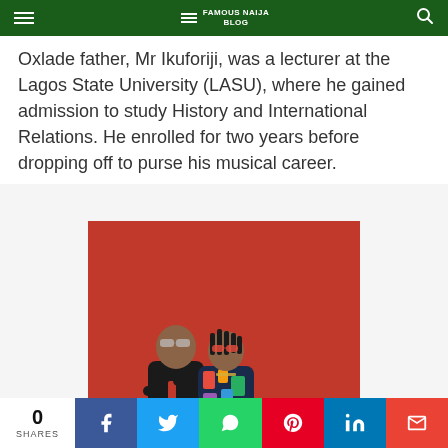FAMOUS NAIJA BLOG
Oxlade father, Mr Ikuforiji, was a lecturer at the Lagos State University (LASU), where he gained admission to study History and International Relations. He enrolled for two years before dropping off to purse his musical career.
[Figure (photo): Two men posing against a red background. The man on the left wears a black jacket with red accents and dark trousers with sunglasses. The man on the right leans on the first man's shoulder, wearing a colorful patterned suit with sunglasses.]
0 SHARES | Facebook | Twitter | WhatsApp | Pinterest | LinkedIn | Gmail